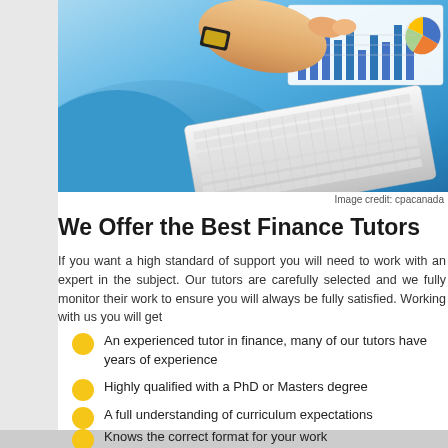[Figure (photo): Person in blue shirt pointing at financial charts and graphs on a screen, with a keyboard/tablet visible, showing bar charts and a pie chart in the background.]
Image credit: cpacanada
We Offer the Best Finance Tutors
If you want a high standard of support you will need to work with an expert in the subject. Our tutors are carefully selected and we fully monitor their work to ensure you will always be fully satisfied. Working with us you will get
An experienced tutor in finance, many of our tutors have years of experience
Highly qualified with a PhD or Masters degree
A full understanding of curriculum expectations
Knows the correct format for your work